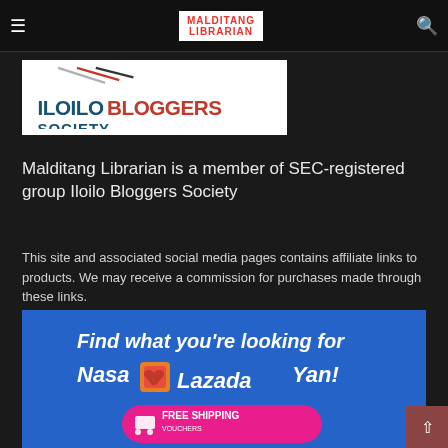≡  MALDITANG LIBRARIAN  🔍
[Figure (logo): Iloilo Bloggers Society logo — white background with blue ILOILO and red BLOGGERSSOCIETY text, with a feather/quill graphic above]
Malditang Librarian is a member of SEC-registered group Iloilo Bloggers Society
This site and associated social media pages contains affiliate links to products. We may receive a commission for purchases made through these links.
[Figure (photo): Lazada advertisement banner — blue background with white handwritten text 'Find what you're looking for Nasa Lazada Yan!' with Lazada logo/box icon and a pink FREE SHIPPING VOUCHERS button at the bottom]